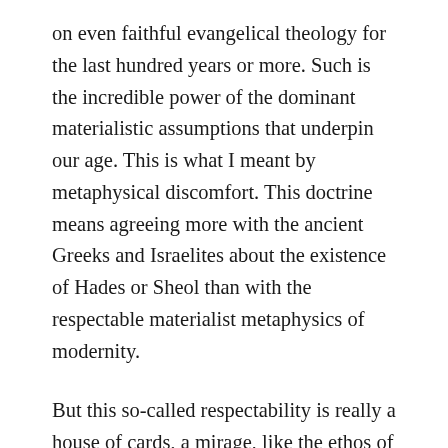on even faithful evangelical theology for the last hundred years or more. Such is the incredible power of the dominant materialistic assumptions that underpin our age. This is what I meant by metaphysical discomfort. This doctrine means agreeing more with the ancient Greeks and Israelites about the existence of Hades or Sheol than with the respectable materialist metaphysics of modernity.
But this so-called respectability is really a house of cards, a mirage, like the ethos of ‘cool’ that hung around certain people in high school. It’s not worth fighting for because it is built on a foundation of weaponized doubt and unbelief.
By and large I found this book compelling,